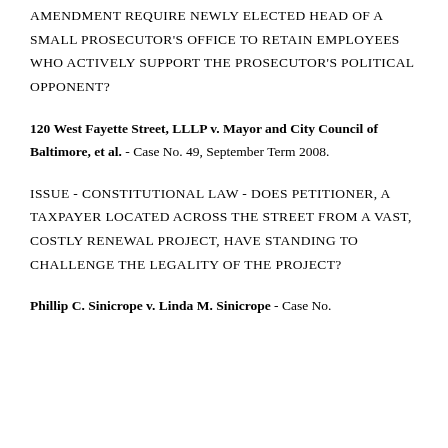AMENDMENT REQUIRE NEWLY ELECTED HEAD OF A SMALL PROSECUTOR'S OFFICE TO RETAIN EMPLOYEES WHO ACTIVELY SUPPORT THE PROSECUTOR'S POLITICAL OPPONENT?
120 West Fayette Street, LLLP v. Mayor and City Council of Baltimore, et al. - Case No. 49, September Term 2008.
ISSUE - CONSTITUTIONAL LAW - DOES PETITIONER, A TAXPAYER LOCATED ACROSS THE STREET FROM A VAST, COSTLY RENEWAL PROJECT, HAVE STANDING TO CHALLENGE THE LEGALITY OF THE PROJECT?
Phillip C. Sinicrope v. Linda M. Sinicrope - Case No.